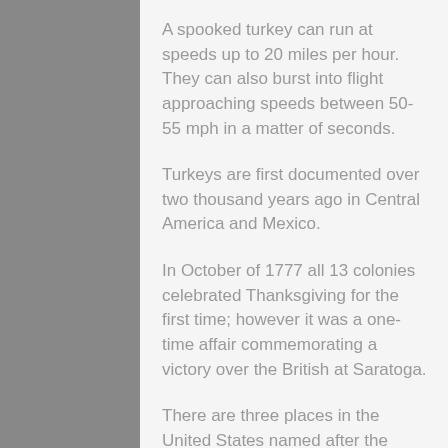A spooked turkey can run at speeds up to 20 miles per hour. They can also burst into flight approaching speeds between 50-55 mph in a matter of seconds.
Turkeys are first documented over two thousand years ago in Central America and Mexico.
In October of 1777 all 13 colonies celebrated Thanksgiving for the first time; however it was a one-time affair commemorating a victory over the British at Saratoga.
There are three places in the United States named after the holiday's